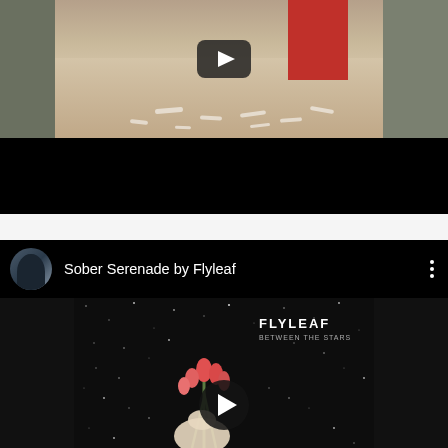[Figure (screenshot): YouTube video thumbnail showing a corridor with a red door at the end, a YouTube play button overlay, and a black lower bar. This is a video player embed screenshot.]
[Figure (screenshot): YouTube video embed showing 'Sober Serenade by Flyleaf' with a circular avatar, video title, three-dot menu, and album art for Flyleaf 'Between The Stars' with tulips and a play button.]